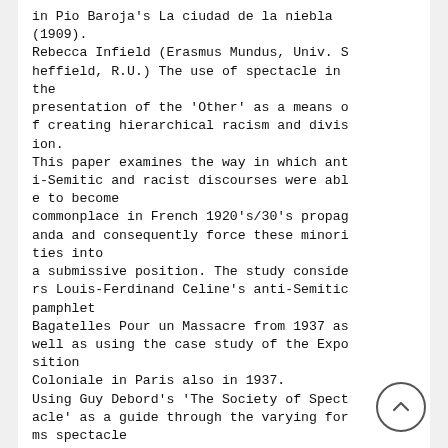in Pio Baroja's La ciudad de la niebla (1909).
Rebecca Infield (Erasmus Mundus, Univ. Sheffield, R.U.) The use of spectacle in the
presentation of the 'Other' as a means of creating hierarchical racism and division.
This paper examines the way in which anti-Semitic and racist discourses were able to become
commonplace in French 1920's/30's propaganda and consequently force these minorities into
a submissive position. The study considers Louis-Ferdinand Celine's anti-Semitic pamphlet
Bagatelles Pour un Massacre from 1937 as well as using the case study of the Exposition
Coloniale in Paris also in 1937.
Using Guy Debord's 'The Society of Spectacle' as a guide through the varying forms spectacle